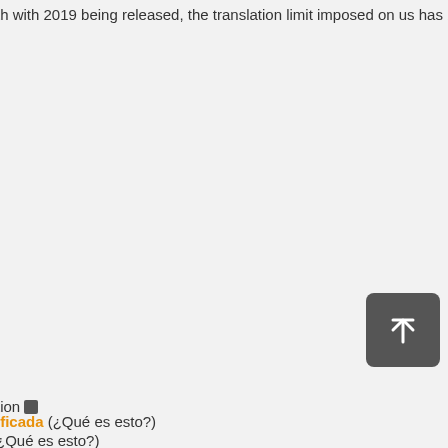th with 2019 being released, the translation limit imposed on us has been
ificada (¿Qué es esto?)
nguage to the other stops right here. Great application and saves a
tion
¿Qué es esto?)